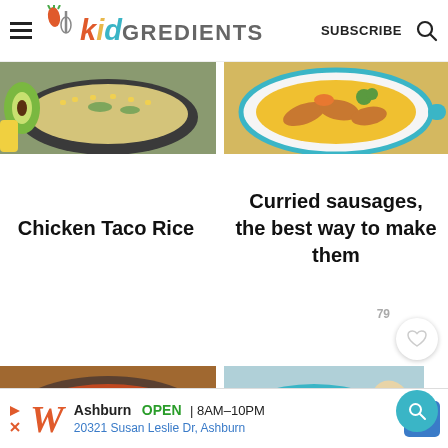kidGREDIENTS | SUBSCRIBE
[Figure (photo): Overhead photo of a skillet with chicken taco rice dish, with avocado and colorful vegetables visible]
[Figure (photo): Overhead photo of a white bowl with curried sausages and vegetables in a yellow curry sauce]
Chicken Taco Rice
Curried sausages, the best way to make them
[Figure (photo): Overhead photo of a pan with a bean and corn tomato-based stew, garnished with cilantro]
[Figure (photo): Photo of a teal bowl with rice and a saucy topping, garnished with green herbs]
79
Ashburn OPEN 8AM–10PM 20321 Susan Leslie Dr, Ashburn